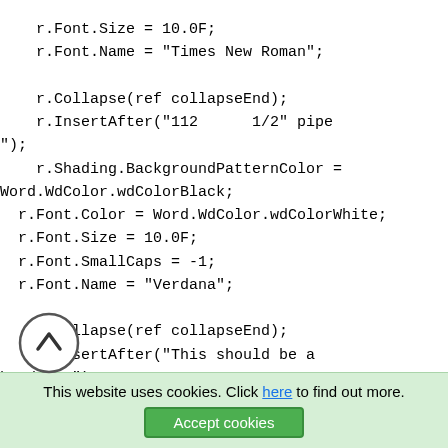r.Font.Size = 10.0F;
    r.Font.Name = "Times New Roman";

    r.Collapse(ref collapseEnd);
    r.InsertAfter("112      1/2" pipe
");
    r.Shading.BackgroundPatternColor =
Word.WdColor.wdColorBlack;
  r.Font.Color = Word.WdColor.wdColorWhite;
  r.Font.Size = 10.0F;
  r.Font.SmallCaps = -1;
  r.Font.Name = "Verdana";

    r.Collapse(ref collapseEnd);
    r.InsertAfter("This should be a
heading.");

    r.
}
This website uses cookies. Click here to find out more.